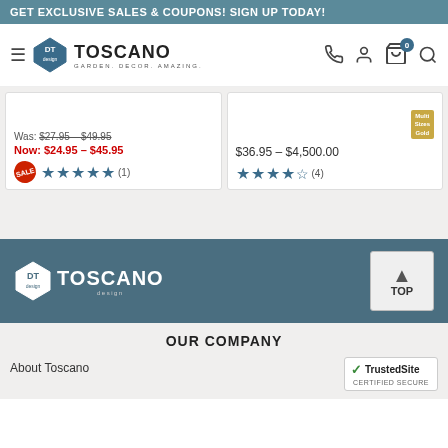GET EXCLUSIVE SALES & COUPONS! SIGN UP TODAY!
[Figure (logo): Design Toscano logo with diamond shield and text GARDEN. DECOR. AMAZING.]
Was: $27.95 – $49.95
Now: $24.95 – $45.95
★★★★★ (1)
Multi Sizes Gold
$36.95 – $4,500.00
★★★★½ (4)
[Figure (logo): Design Toscano footer logo white on dark blue background]
[Figure (other): TOP button with upward triangle arrow]
OUR COMPANY
About Toscano
[Figure (logo): TrustedSite Certified Secure badge]